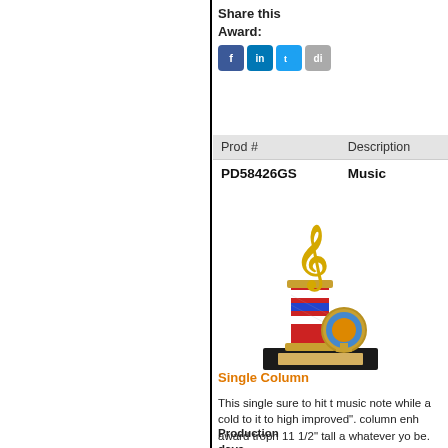Share this Award:
[Figure (other): Social media sharing icons: Facebook (f), LinkedIn (in), Twitter bird, and one more (di)]
| Prod # | Description |
| --- | --- |
| PD58426GS | Music |
[Figure (photo): A music trophy with a gold treble clef figurine on top, a red/white/blue striped column, and a small circular medallion on the side, on a black base with a label plate.]
Single Column
This single sure to hit t music note while a cold to it to high improved". column enh award troph 11 1/2" tall a whatever yo be. After yo cart, you ca any sportin recipient we see this aw
Production days.